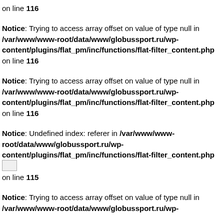on line 116
Notice: Trying to access array offset on value of type null in /var/www/www-root/data/www/globussport.ru/wp-content/plugins/flat_pm/inc/functions/flat-filter_content.php on line 116
Notice: Trying to access array offset on value of type null in /var/www/www-root/data/www/globussport.ru/wp-content/plugins/flat_pm/inc/functions/flat-filter_content.php on line 116
Notice: Undefined index: referer in /var/www/www-root/data/www/globussport.ru/wp-content/plugins/flat_pm/inc/functions/flat-filter_content.php on line 115
Notice: Trying to access array offset on value of type null in /var/www/www-root/data/www/globussport.ru/wp-